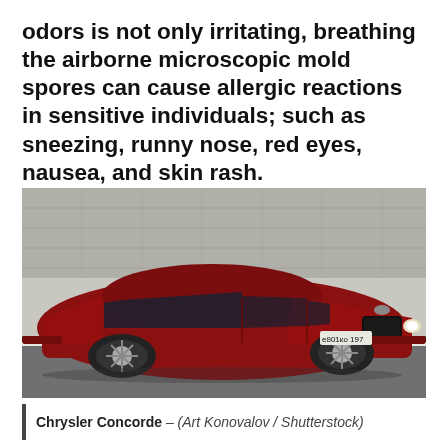odors is not only irritating, breathing the airborne microscopic mold spores can cause allergic reactions in sensitive individuals; such as sneezing, runny nose, red eyes, nausea, and skin rash.
[Figure (photo): A red Chrysler Concorde sedan driving on a road, with a concrete wall in the background. The car has a Russian license plate reading е801ко197.]
Chrysler Concorde – (Art Konovalov / Shutterstock)